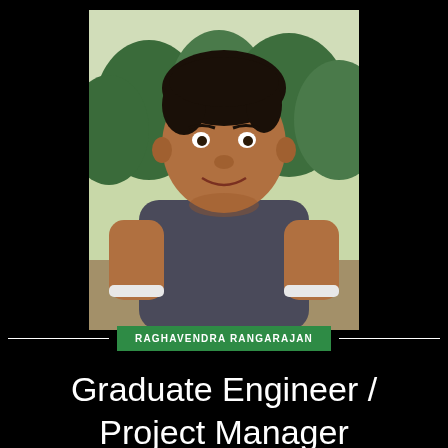[Figure (photo): Portrait photo of a young man wearing a dark grey t-shirt, smiling, standing outdoors with trees in the background]
RAGHAVENDRA RANGARAJAN
Graduate Engineer / Project Manager